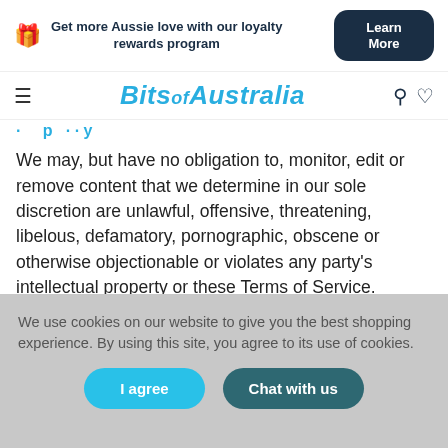[Figure (infographic): Top banner: gift icon, loyalty rewards program text, and Learn More button]
[Figure (screenshot): Navigation bar with hamburger menu, Bits of Australia logo, search and cart icons]
· · ·  p · · y
We may, but have no obligation to, monitor, edit or remove content that we determine in our sole discretion are unlawful, offensive, threatening, libelous, defamatory, pornographic, obscene or otherwise objectionable or violates any party's intellectual property or these Terms of Service.
We use cookies on our website to give you the best shopping experience. By using this site, you agree to its use of cookies.